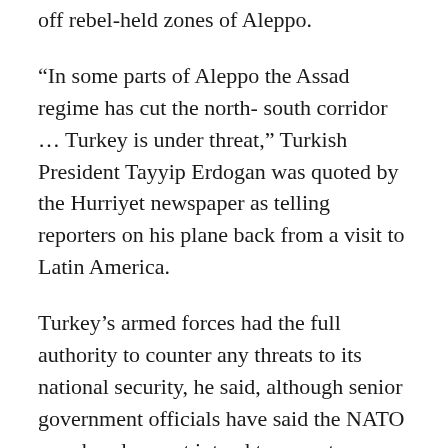off rebel-held zones of Aleppo.
“In some parts of Aleppo the Assad regime has cut the north- south corridor … Turkey is under threat,” Turkish President Tayyip Erdogan was quoted by the Hurriyet newspaper as telling reporters on his plane back from a visit to Latin America.
Turkey’s armed forces had the full authority to counter any threats to its national security, he said, although senior government officials have said the NATO member does not intend to mount any unilateral incursion into Syria.
Sunni Arab powers in the region, which, like Turkey, want to see Assad removed from power,